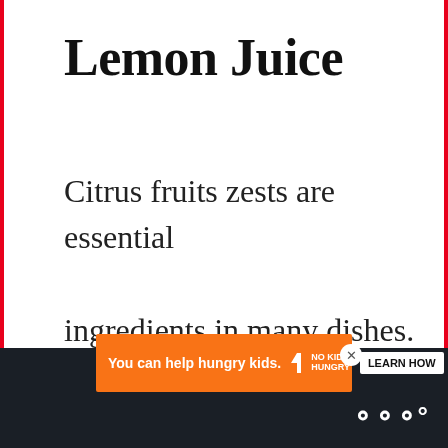Lemon Juice
Citrus fruits zests are essential ingredients in many dishes. They add a wonderful citrusy flavor. Zest is the colored part of the fruit peel.
[Figure (other): Heart/like button (blue circle with white heart icon) and share button (grey circle with share icon)]
[Figure (other): What's Next panel with food photo and text: Can you cook ramen in a ri...]
[Figure (other): Advertisement banner: You can help hungry kids. No Kid Hungry. Learn How. With close button.]
[Figure (logo): Masthead logo - stylized W with degree symbol]